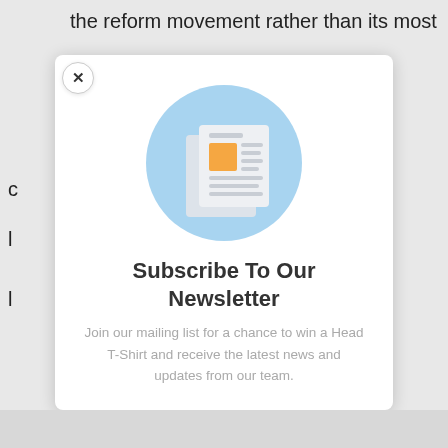the reform movement rather than its most
[Figure (screenshot): Newsletter subscription modal popup with a close (×) button, a blue circular icon containing a newspaper illustration, bold title 'Subscribe To Our Newsletter', and descriptive text below.]
Subscribe To Our Newsletter
Join our mailing list for a chance to win a Head T-Shirt and receive the latest news and updates from our team.